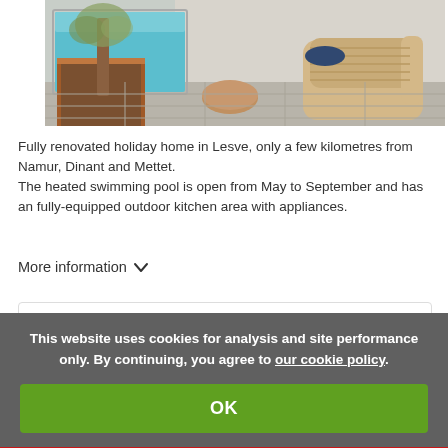[Figure (photo): Outdoor terrace with a blue heated swimming pool, a large tree in a corten steel planter, a round wooden coffee table, and a wicker lounge chair on grey stone paving]
Fully renovated holiday home in Lesve, only a few kilometres from Namur, Dinant and Mettet.
The heated swimming pool is open from May to September and has an fully-equipped outdoor kitchen area with appliances.
More information ∨
Main benefits of the lodgings
This website uses cookies for analysis and site performance only. By continuing, you agree to our cookie policy.
OK
♡  👤  ≡